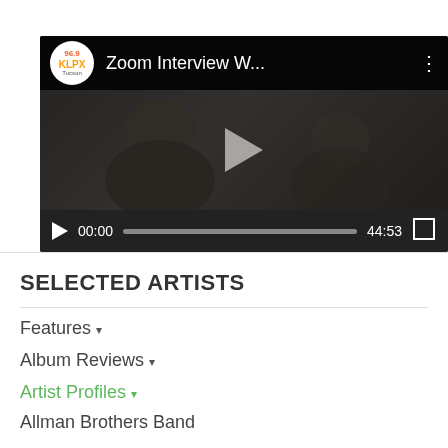[Figure (screenshot): YouTube/video player embed showing '96.9 KLPX' logo and title 'Zoom Interview W...' with a dark video thumbnail showing two people, a play button overlay, and video controls showing 00:00 / 44:53]
SELECTED ARTISTS
Features ▾
Album Reviews ▾
Artist Profiles ▾
Allman Brothers Band
The Beatles
David Bowie